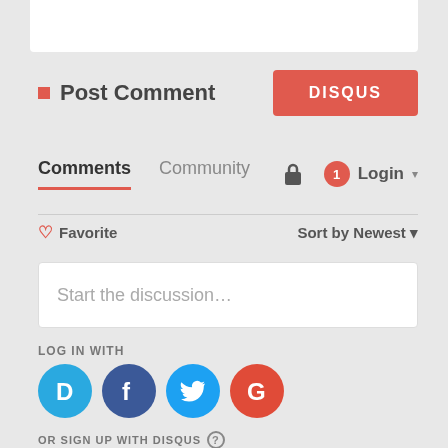[Figure (screenshot): White box at top representing a comment area or content block]
Post Comment
[Figure (screenshot): DISQUS red button]
Comments   Community   Login
Favorite   Sort by Newest
Start the discussion…
LOG IN WITH
[Figure (screenshot): Social login icons: Disqus (D), Facebook (F), Twitter bird, Google (G)]
OR SIGN UP WITH DISQUS
Name